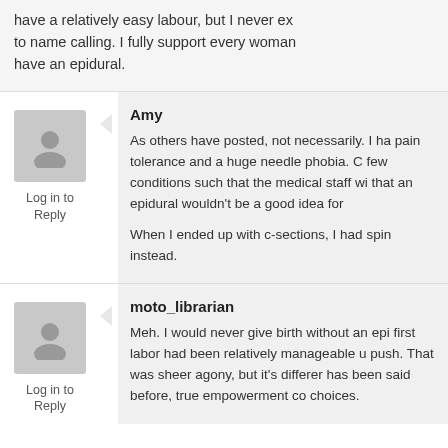have a relatively easy labour, but I never expected to name calling. I fully support every woman's right to have an epidural.
Log in to Reply
Amy
As others have posted, not necessarily. I ha pain tolerance and a huge needle phobia. C few conditions such that the medical staff wi that an epidural wouldn't be a good idea for
When I ended up with c-sections, I had spin instead.
Log in to Reply
moto_librarian
Meh. I would never give birth without an epi first labor had been relatively manageable u push. That was sheer agony, but it's differer has been said before, true empowerment co choices.